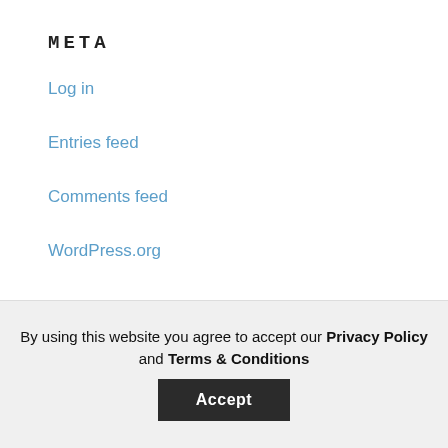Local Events
News
Not For Profit Help
Social Media Awards
Spotlight On
Training Courses
META
Log in
Entries feed
Comments feed
WordPress.org
By using this website you agree to accept our Privacy Policy and Terms & Conditions
Accept